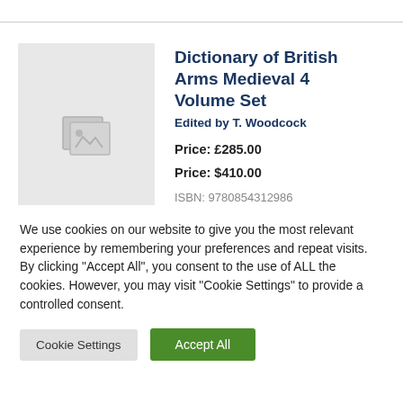[Figure (illustration): Book cover placeholder with image icon on grey background]
Dictionary of British Arms Medieval 4 Volume Set
Edited by T. Woodcock
Price: £285.00
Price: $410.00
ISBN: 9780854312986
We use cookies on our website to give you the most relevant experience by remembering your preferences and repeat visits. By clicking "Accept All", you consent to the use of ALL the cookies. However, you may visit "Cookie Settings" to provide a controlled consent.
Cookie Settings
Accept All